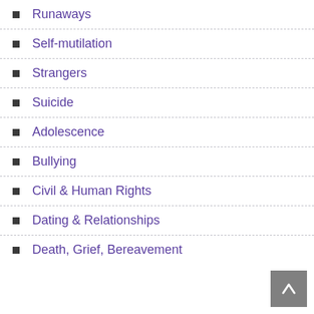Runaways
Self-mutilation
Strangers
Suicide
Adolescence
Bullying
Civil & Human Rights
Dating & Relationships
Death, Grief, Bereavement